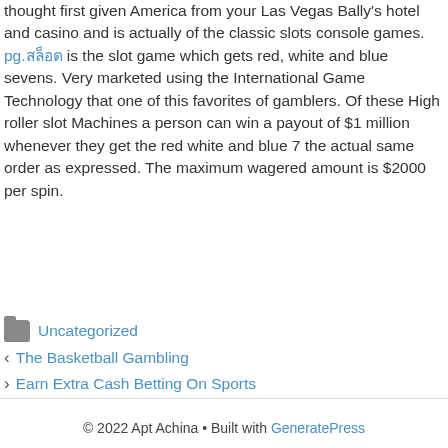thought first given America from your Las Vegas Bally's hotel and casino and is actually of the classic slots console games. pg.สล็อต is the slot game which gets red, white and blue sevens. Very marketed using the International Game Technology that one of this favorites of gamblers. Of these High roller slot Machines a person can win a payout of $1 million whenever they get the red white and blue 7 the actual same order as expressed. The maximum wagered amount is $2000 per spin.
Uncategorized
The Basketball Gambling
Earn Extra Cash Betting On Sports
© 2022 Apt Achina • Built with GeneratePress